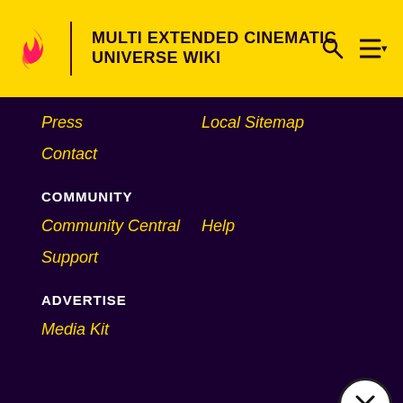MULTI EXTENDED CINEMATIC UNIVERSE WIKI
Press
Local Sitemap
Contact
COMMUNITY
Community Central
Help
Support
ADVERTISE
Media Kit
Fandomatic
Contact